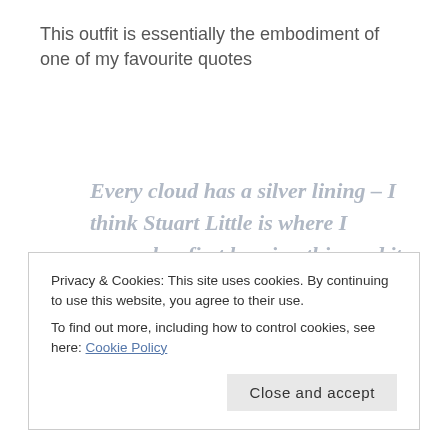This outfit is essentially the embodiment of one of my favourite quotes
Every cloud has a silver lining – I think Stuart Little is where I remember first hearing this, and it just stuck with me!
Privacy & Cookies: This site uses cookies. By continuing to use this website, you agree to their use.
To find out more, including how to control cookies, see here: Cookie Policy
Close and accept